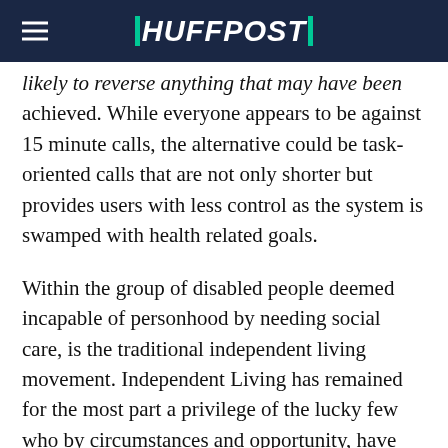HUFFPOST
likely to reverse anything that may have been achieved. While everyone appears to be against 15 minute calls, the alternative could be task-oriented calls that are not only shorter but provides users with less control as the system is swamped with health related goals.
Within the group of disabled people deemed incapable of personhood by needing social care, is the traditional independent living movement. Independent Living has remained for the most part a privilege of the lucky few who by circumstances and opportunity, have had the attitudes needed to secure the funding they have required to break the mould and make a contribution to society when society,